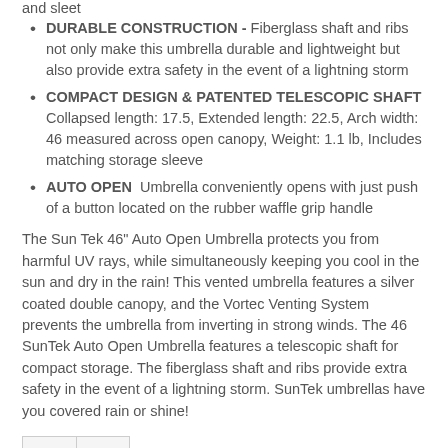DURABLE CONSTRUCTION - Fiberglass shaft and ribs not only make this umbrella durable and lightweight but also provide extra safety in the event of a lightning storm
COMPACT DESIGN & PATENTED TELESCOPIC SHAFT Collapsed length: 17.5, Extended length: 22.5, Arch width: 46 measured across open canopy, Weight: 1.1 lb, Includes matching storage sleeve
AUTO OPEN  Umbrella conveniently opens with just push of a button located on the rubber waffle grip handle
The Sun Tek 46" Auto Open Umbrella protects you from harmful UV rays, while simultaneously keeping you cool in the sun and dry in the rain! This vented umbrella features a silver coated double canopy, and the Vortec Venting System prevents the umbrella from inverting in strong winds. The 46 SunTek Auto Open Umbrella features a telescopic shaft for compact storage. The fiberglass shaft and ribs provide extra safety in the event of a lightning storm. SunTek umbrellas have you covered rain or shine!
[Figure (other): Two icon buttons: a heart/wishlist button and a compare button]
Auto Open 46" Folding